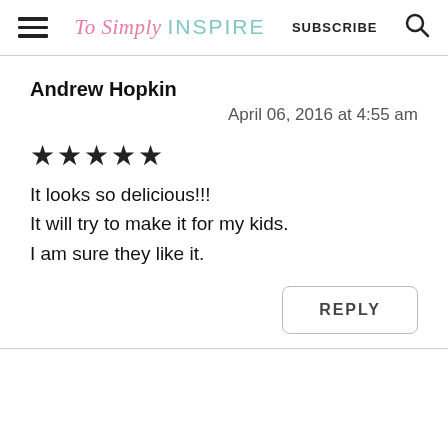To Simply INSPIRE   SUBSCRIBE
Andrew Hopkin
April 06, 2016 at 4:55 am
★★★★★
It looks so delicious!!!
It will try to make it for my kids.
I am sure they like it.
REPLY